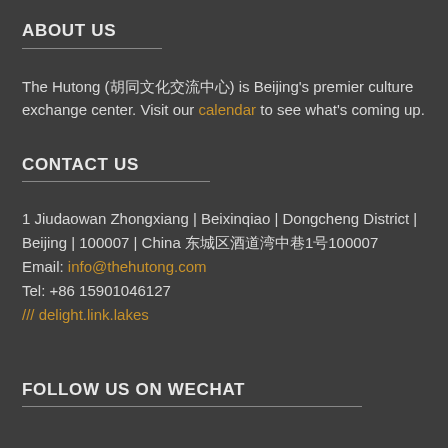ABOUT US
The Hutong (胡同文化交流中心) is Beijing's premier culture exchange center. Visit our calendar to see what's coming up.
CONTACT US
1 Jiudaowan Zhongxiang | Beixinqiao | Dongcheng District | Beijing | 100007 | China 东城区酒道湾中巷1号100007
Email: info@thehutong.com
Tel: +86 15901046127
/// delight.link.lakes
FOLLOW US ON WECHAT